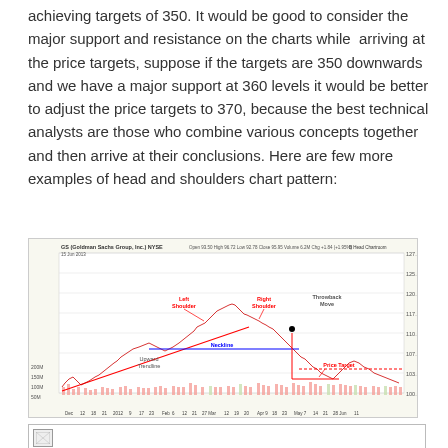achieving targets of 350. It would be good to consider the major support and resistance on the charts while arriving at the price targets, suppose if the targets are 350 downwards and we have a major support at 360 levels it would be better to adjust the price targets to 370, because the best technical analysts are those who combine various concepts together and then arrive at their conclusions. Here are few more examples of head and shoulders chart pattern:
[Figure (continuous-plot): Stock chart for GS (Goldman Sachs Group, Inc.) showing a head and shoulders pattern with annotations: Left Shoulder, Right Shoulder, Throwback Move, Neckline, Upward Trendline, Price Target. Candlestick chart with volume bars at bottom. Date range from Dec 2012 to Jun. Price range approximately 97.5 to 127.5.]
[Figure (photo): Broken/missing image placeholder at bottom of page]